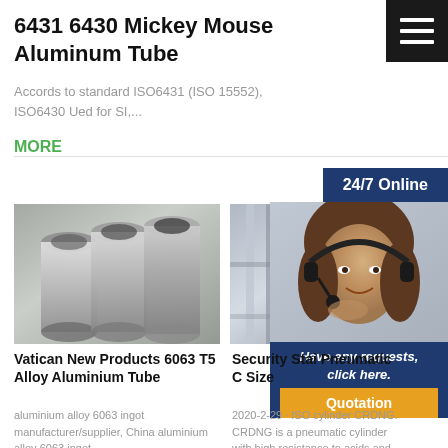6431 6430 Mickey Mouse Aluminum Tube
Accords to standard ISO6431 (ISO 15552), ISO6430 Ued for SI,...
MORE
[Figure (screenshot): Hamburger menu icon — three white lines on black background]
24/7 Online
[Figure (photo): Three metallic aluminum tubes photographed on a surface]
[Figure (photo): Stainless steel pipes/tubes stacked in rows]
[Figure (photo): Woman with headset smiling — customer support representative]
Vatican New Products 6063 T5 Alloy Aluminium Tube
aluminium alloy 6063 ingot manufacturer/supplier, China aluminium alloy 6063 ingot
Security Stai Pneumatic C Size
2020-2-29 · ISO cylinder CRDNG. CRDNG is a pneumatic cylinder with high resistance to acids and
Have any requests, click here.
Quotation